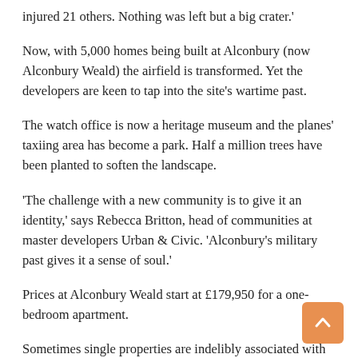injured 21 others. Nothing was left but a big crater.'
Now, with 5,000 homes being built at Alconbury (now Alconbury Weald) the airfield is transformed. Yet the developers are keen to tap into the site's wartime past.
The watch office is now a heritage museum and the planes' taxiing area has become a park. Half a million trees have been planted to soften the landscape.
'The challenge with a new community is to give it an identity,' says Rebecca Britton, head of communities at master developers Urban & Civic. 'Alconbury's military past gives it a sense of soul.'
Prices at Alconbury Weald start at £179,950 for a one-bedroom apartment.
Sometimes single properties are indelibly associated with the war. The HQ of Sir Mansfield Smith-Cumming (the founder of MI6 and the fictional inspiration for M in the James Bond stories), in Whitehall Court, London, is for sale at £5.5million.